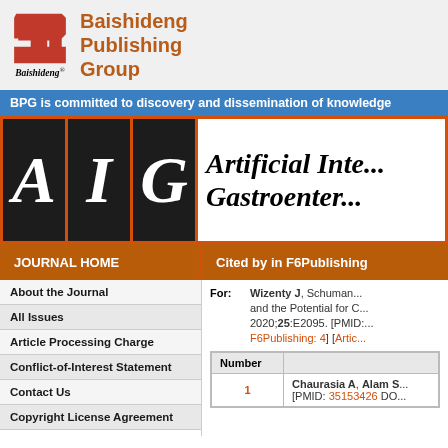[Figure (logo): Baishideng Publishing Group logo with stylized S mark and italic Baishideng text]
Baishideng Publishing Group
BPG is committed to discovery and dissemination of knowledge
[Figure (logo): AIG journal logo with three dark boxes containing italic letters A, I, G and journal title Artificial Intelligence Gastroenter...]
JOURNAL HOME
Cited by in F6Publishing
About the Journal
All Issues
Article Processing Charge
Conflict-of-Interest Statement
Contact Us
Copyright License Agreement
For: Wizenty J, Schumann... and the Potential for C... 2020;25:E2095. [PMID:... F6Publishing: 4] [Artic...
| Number |  |
| --- | --- |
| 1 | Chaurasia A, Alam S... [PMID: 35153426 DO... |